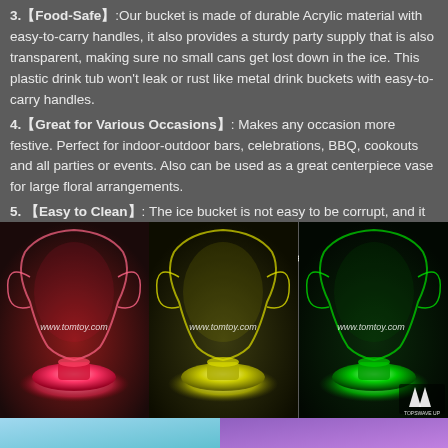3.【Food-Safe】:Our bucket is made of durable Acrylic material with easy-to-carry handles, it also provides a sturdy party supply that is also transparent, making sure no small cans get lost down in the ice. This plastic drink tub won't leak or rust like metal drink buckets with easy-to-carry handles.
4.【Great for Various Occasions】: Makes any occasion more festive. Perfect for indoor-outdoor bars, celebrations, BBQ, cookouts and all parties or events. Also can be used as a great centerpiece vase for large floral arrangements.
5. 【Easy to Clean】: The ice bucket is not easy to be corrupt, and it can be rinsed directly with water.
6. 【Long Service Life】: Operated by rechargeable Li-battery, power adapter and remote control are included.
[Figure (photo): Three side-by-side photos of an acrylic LED ice bucket glowing in different colors: pink/red on the left, yellow/green in the middle, and green on the right. Each photo shows the bucket with butterfly-wing shaped handles lit from below with a glowing base. Each image has watermark text 'www.tomtoy.com'. The rightmost image has a 'TOPSWAVE UP' arrow logo in the bottom right corner.]
[Figure (photo): Bottom strip showing partial images: a light blue/teal image on the left and a purple/violet image on the right.]